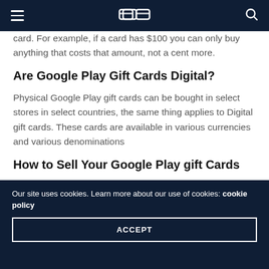[Cardtonic logo, hamburger menu, search icon]
card. For example, if a card has $100 you can only buy anything that costs that amount, not a cent more.
Are Google Play Gift Cards Digital?
Physical Google Play gift cards can be bought in select stores in select countries, the same thing applies to Digital gift cards. These cards are available in various currencies and various denominations
How to Sell Your Google Play gift Cards
Cardtonic is an online gift trading platform that allows
Our site uses cookies. Learn more about our use of cookies: cookie policy
ACCEPT